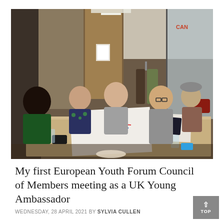[Figure (photo): Group of young people sitting around a wooden table in a meeting room, engaged in discussion. Papers and drinks on the table. Office background with glass partitions and coats hanging.]
My first European Youth Forum Council of Members meeting as a UK Young Ambassador
WEDNESDAY, 28 APRIL 2021 BY SYLVIA CULLEN